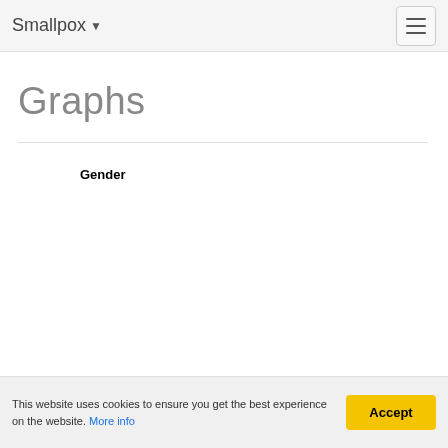Smallpox ▾
Graphs
Gender
Ages
This website uses cookies to ensure you get the best experience on the website. More info